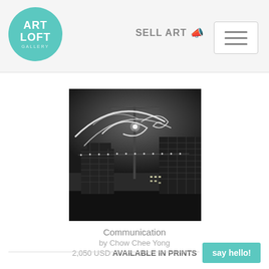ART LOFT | SELL ART
[Figure (photo): Black and white long-exposure photograph of a construction site at night, showing light trails forming spiral/arc patterns in the sky above cranes and buildings under construction with scaffolding.]
Communication
by Chow Chee Yong
2,050 USD AVAILABLE IN PRINTS
say hello!